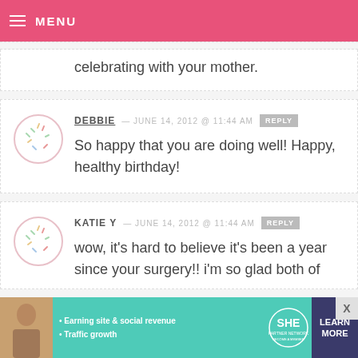MENU
celebrating with your mother.
DEBBIE — JUNE 14, 2012 @ 11:44 AM  REPLY
So happy that you are doing well! Happy, healthy birthday!
KATIE Y — JUNE 14, 2012 @ 11:44 AM  REPLY
wow, it's hard to believe it's been a year since your surgery!! i'm so glad both of
[Figure (infographic): Advertisement banner for SHE Partner Network with text: Earning site & social revenue, Traffic growth, LEARN MORE, BECOME A MEMBER]